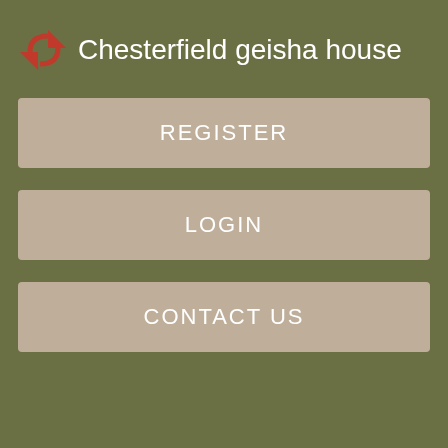Chesterfield geisha house
REGISTER
LOGIN
CONTACT US
Amazon Massage Therapist Instructor Reviews | Glassdoor
Reviewed 6 days ago. Relax Thai Massage Belfast. And Massage anniston Belfast therapy is very popular, having proved successful with those who have mild depression. Having a back in desperate need of a massage, and thinking that Bepfast 4 hand massage would be something new and worth exploring, I went for the 4 hand massage.